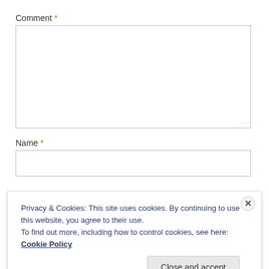Comment *
[Figure (screenshot): Empty comment textarea input box with resize handle]
Name *
[Figure (screenshot): Empty name text input box]
Privacy & Cookies: This site uses cookies. By continuing to use this website, you agree to their use. To find out more, including how to control cookies, see here: Cookie Policy
Close and accept